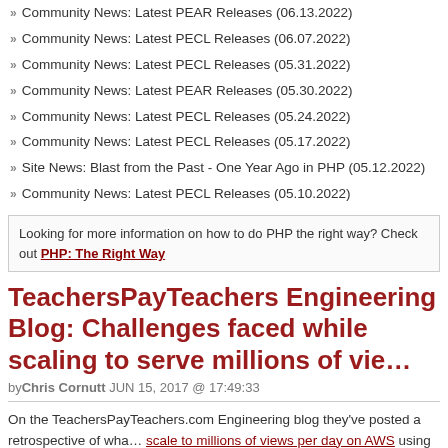Community News: Latest PEAR Releases (06.13.2022)
Community News: Latest PECL Releases (06.07.2022)
Community News: Latest PECL Releases (05.31.2022)
Community News: Latest PEAR Releases (05.30.2022)
Community News: Latest PECL Releases (05.24.2022)
Community News: Latest PECL Releases (05.17.2022)
Site News: Blast from the Past - One Year Ago in PHP (05.12.2022)
Community News: Latest PECL Releases (05.10.2022)
Looking for more information on how to do PHP the right way? Check out PHP: The Right Way
TeachersPayTeachers Engineering Blog: Challenges faced while scaling to serve millions of vie…
by Chris Cornutt JUN 15, 2017 @ 17:49:33
On the TeachersPayTeachers.com Engineering blog they've posted a retrospective of what it took to scale to millions of views per day on AWS using Kubernetes, React, PHP, and Elixir.
Here at Teachers Pay Teachers (or TpT, as we call it) we've been in the process of moving our website from a PHP monolith to a microservice based architecture utilizing React and GraphQL. To date, this migration has delighted our community of educators with significant improvements. We're able to objectively measure these improvements with…